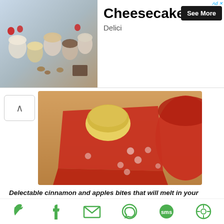[Figure (photo): Advertisement banner with cheesecake photo showing various desserts in small jars on a slate board]
Cheesecakes
Delici
[Figure (photo): Food photo showing puff pastry bites on a wooden cutting board with red cloth and red bowl]
Delectable cinnamon and apples bites that will melt in your mouth.
Ingredients:
1 sheet ready to roll puff pastry
2 granny smith apples
4 tablespoons sugar
1 teaspoon cinnamon powder
[Figure (infographic): Social sharing icons: Twitter, Facebook, Email, WhatsApp, SMS, and another share icon, all in green]